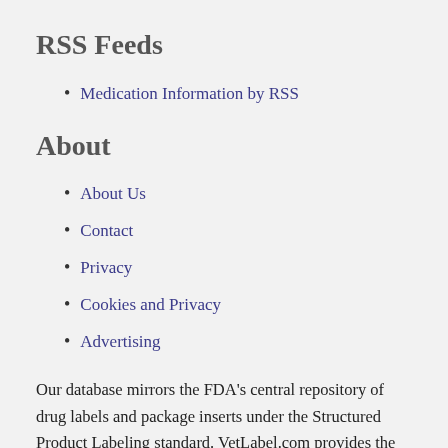RSS Feeds
Medication Information by RSS
About
About Us
Contact
Privacy
Cookies and Privacy
Advertising
Our database mirrors the FDA's central repository of drug labels and package inserts under the Structured Product Labeling standard. VetLabel.com provides the full animal health subset of the FDA's repository. Veterinary information